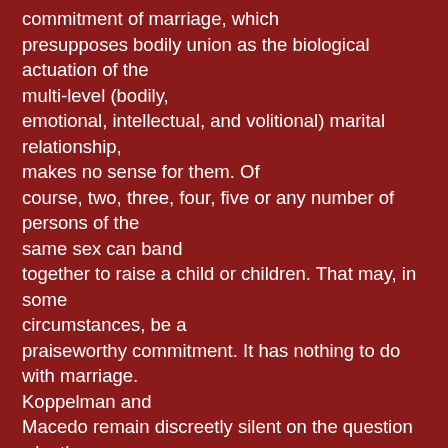commitment of marriage, which presupposes bodily union as the biological actuation of the multi-level (bodily, emotional, intellectual, and volitional) marital relationship, makes no sense for them. Of course, two, three, four, five or any number of persons of the same sex can band together to raise a child or children. That may, in some circumstances, be a praiseworthy commitment. It has nothing to do with marriage. Koppelman and Macedo remain discreetly silent on the question why the same-sex 'marriage' they offer to defend is to be between two persons rather than three, four, five, or more, all engaging in sex acts 'faithfully' with each other. They are equally silent on the question why this group sex-partnership should remain constant in membership, rather than revolving like other partnerships.
The plain fact is that those who propound 'gay' ideology have